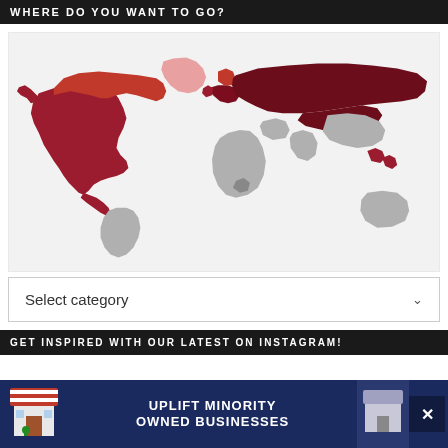WHERE DO YOU WANT TO GO?
[Figure (map): World map with countries highlighted in dark red (Russia, North America, parts of Europe, parts of Southeast Asia), light red (Canada/Greenland area), pink (Greenland), and gray (rest of world including Africa, South America, Australia, Middle East). Map on light gray background.]
Select category
GET INSPIRED WITH OUR LATEST ON INSTAGRAM!
[Figure (infographic): Advertisement banner: 'UPLIFT MINORITY OWNED BUSINESSES' on dark blue background with store illustrations and close button (X)]